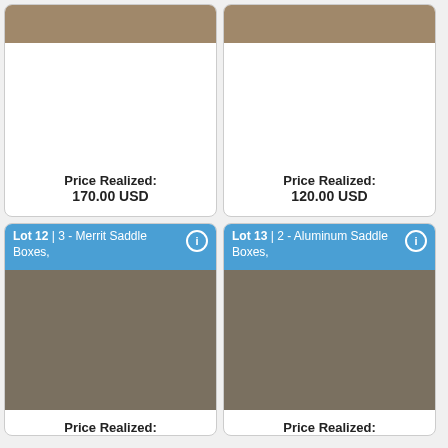[Figure (photo): Photo of saddle boxes (top portion cropped), left column top card]
Price Realized:
170.00 USD
[Figure (photo): Photo of saddle boxes (top portion cropped), right column top card]
Price Realized:
120.00 USD
Lot 12 | 3 - Merrit Saddle Boxes,
[Figure (photo): Photo of 3 Merrit Saddle Boxes on floor]
Price Realized:
55.00 USD
Lot 13 | 2 - Aluminum Saddle Boxes,
[Figure (photo): Photo of 2 Aluminum Saddle Boxes]
Price Realized:
30.00 USD